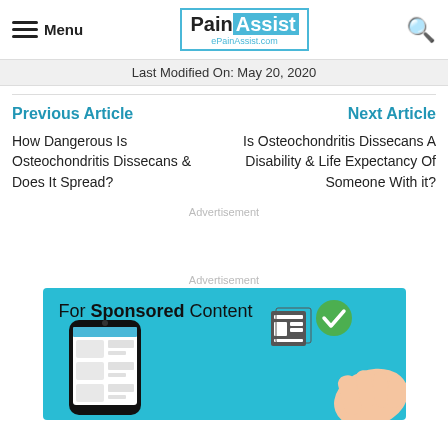Menu | PainAssist ePainAssist.com
Last Modified On: May 20, 2020
Previous Article
Next Article
How Dangerous Is Osteochondritis Dissecans & Does It Spread?
Is Osteochondritis Dissecans A Disability & Life Expectancy Of Someone With it?
Advertisement
Advertisement
[Figure (illustration): Sponsored content banner with phone and hand graphic on teal background reading 'For Sponsored Content']